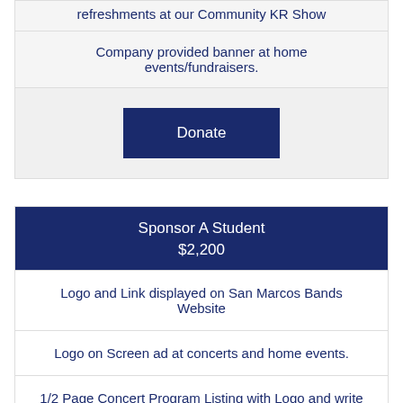refreshments at our Community KR Show
Company provided banner at home events/fundraisers.
Donate
Sponsor A Student
$2,200
Logo and Link displayed on San Marcos Bands Website
Logo on Screen ad at concerts and home events.
1/2 Page Concert Program Listing with Logo and write up of your choice.